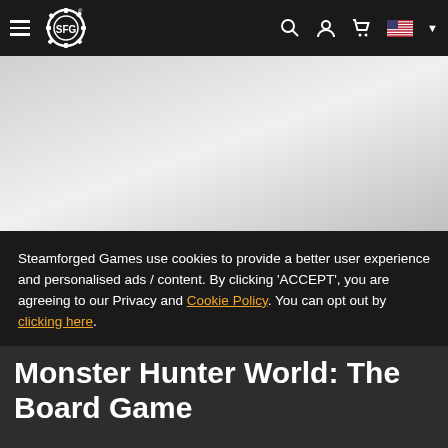SFG navigation bar with hamburger menu, SFG logo, search, account, cart, and US flag language selector
[Figure (photo): Hero image area showing a light gray placeholder/loading image]
Steamforged Games use cookies to provide a better user experience and personalised ads / content. By clicking 'ACCEPT', you are agreeing to our Privacy and Cookie Policy. You can opt out by clicking here.
Accept (button)
Monster Hunter World: The Board Game